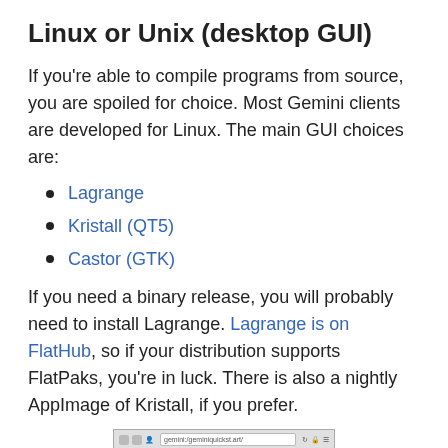Linux or Unix (desktop GUI)
If you’re able to compile programs from source, you are spoiled for choice. Most Gemini clients are developed for Linux. The main GUI choices are:
Lagrange
Kristall (QT5)
Castor (GTK)
If you need a binary release, you will probably need to install Lagrange. Lagrange is on FlatHub, so if your distribution supports FlatPaks, you’re in luck. There is also a nightly AppImage of Kristall, if you prefer.
[Figure (screenshot): Screenshot of Lagrange browser showing gemini:/geminiquickst.art/ with a green sidebar labeled Gemini Quickstart: and a main area with heading What is Gemini?]